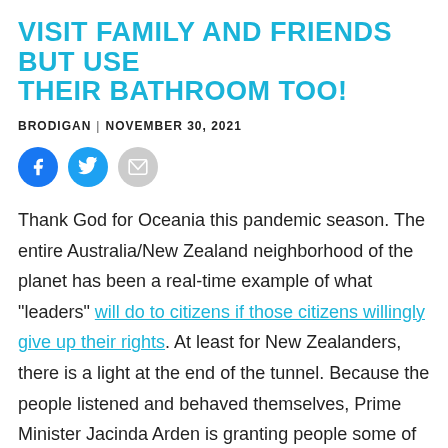VISIT FAMILY AND FRIENDS BUT USE THEIR BATHROOM TOO!
BRODIGAN | NOVEMBER 30, 2021
[Figure (other): Social share icons: Facebook (blue circle), Twitter (blue circle), Email (grey envelope)]
Thank God for Oceania this pandemic season. The entire Australia/New Zealand neighborhood of the planet has been a real-time example of what "leaders" will do to citizens if those citizens willingly give up their rights. At least for New Zealanders, there is a light at the end of the tunnel. Because the people listened and behaved themselves, Prime Minister Jacinda Arden is granting people some of their rights back. The right to not only visit family